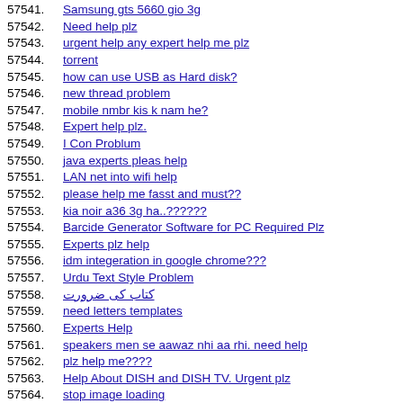57541. Samsung gts 5660 gio 3g
57542. Need help plz
57543. urgent help any expert help me plz
57544. torrent
57545. how can use USB as Hard disk?
57546. new thread problem
57547. mobile nmbr kis k nam he?
57548. Expert help plz.
57549. I Con Problum
57550. java experts pleas help
57551. LAN net into wifi help
57552. please help me fasst and must??
57553. kia noir a36 3g ha..??????
57554. Barcide Generator Software for PC Required Plz
57555. Experts plz help
57556. idm integeration in google chrome???
57557. Urdu Text Style Problem
57558. کتاب کی ضرورت
57559. need letters templates
57560. Experts Help
57561. speakers men se aawaz nhi aa rhi. need help
57562. plz help me????
57563. Help About DISH and DISH TV. Urgent plz
57564. stop image loading
57565. mouse cursor problem
57566. 3g ki bari m koch malomat chai
57567. all experts come here
57568. iDM PROBLE
57569. Hard disk help.Help me Plz Plz
57570. help me about 3g